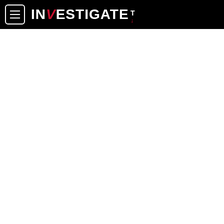INVESTIGATE TV
[Figure (other): White blank content area below the InvestigateTV navigation header]